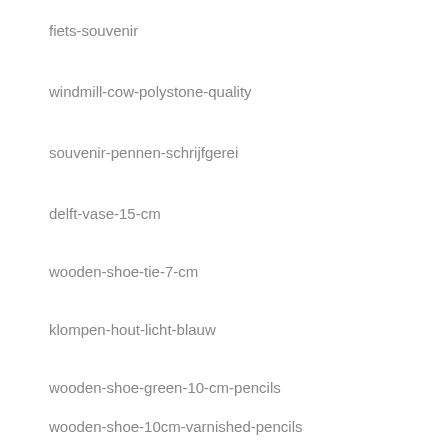fiets-souvenir
windmill-cow-polystone-quality
souvenir-pennen-schrijfgerei
delft-vase-15-cm
wooden-shoe-tie-7-cm
klompen-hout-licht-blauw
wooden-shoe-green-10-cm-pencils
wooden-shoe-10cm-varnished-pencils